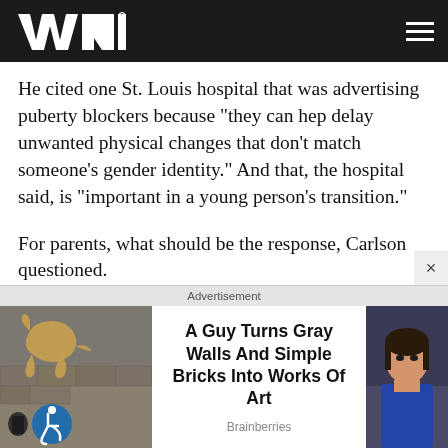WND
He cited one St. Louis hospital that was advertising puberty blockers because "they can hep delay unwanted physical changes that don't match someone's gender identity." And that, the hospital said, is "important in a young person's transition."
For parents, what should be the response, Carlson questioned.
"What are you allowed to do if some unionized teacher
Advertisement
[Figure (photo): Advertisement image showing street art of an animal on a wall, with a wheelchair accessibility icon. Center text: 'A Guy Turns Gray Walls And Simple Bricks Into Works Of Art' by Brainberries. Right side shows partial photo of a woman.]